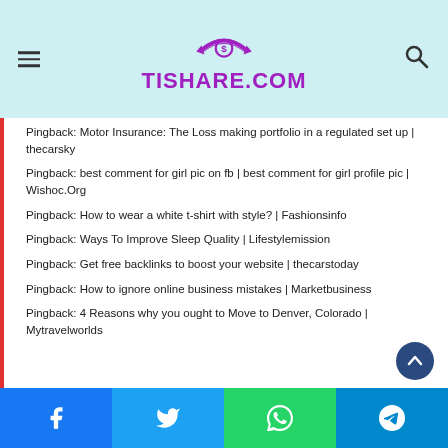TISHARE.COM
Pingback: Motor Insurance: The Loss making portfolio in a regulated set up | thecarsky
Pingback: best comment for girl pic on fb | best comment for girl profile pic | Wishoc.Org
Pingback: How to wear a white t-shirt with style? | Fashionsinfo
Pingback: Ways To Improve Sleep Quality | Lifestylemission
Pingback: Get free backlinks to boost your website | thecarstoday
Pingback: How to ignore online business mistakes | Marketbusiness
Pingback: 4 Reasons why you ought to Move to Denver, Colorado | Mytravelworlds
Facebook | Twitter | WhatsApp | Telegram